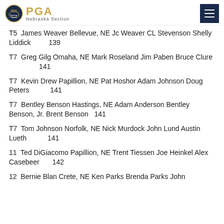PGA Nebraska Section
T5  James Weaver Bellevue, NE Jc Weaver CL Stevenson Shelly Liddick                 139
T7  Greg Gilg Omaha, NE Mark Roseland Jim Paben Bruce Clure                          141
T7  Kevin Drew Papillion, NE Pat Hoshor Adam Johnson Doug Peters                    141
T7  Bentley Benson Hastings, NE Adam Anderson Bentley Benson, Jr. Brent Benson   141
T7  Tom Johnson Norfolk, NE Nick Murdock John Lund Austin Lueth                    141
11  Ted DiGiacomo Papillion, NE Trent Tiessen Joe Heinkel Alex Casebeer            142
12  Bernie Blan Crete, NE Ken Parks Brenda Parks John